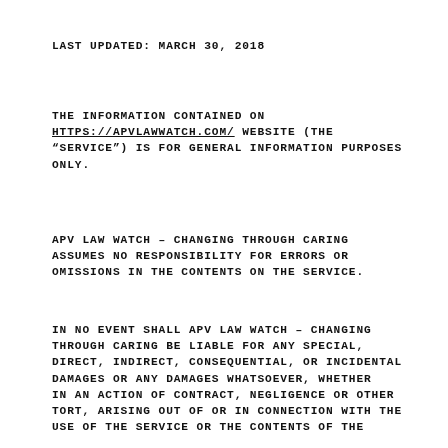LAST UPDATED: MARCH 30, 2018
THE INFORMATION CONTAINED ON HTTPS://APVLAWWATCH.COM/ WEBSITE (THE “SERVICE”) IS FOR GENERAL INFORMATION PURPOSES ONLY.
APV LAW WATCH – CHANGING THROUGH CARING ASSUMES NO RESPONSIBILITY FOR ERRORS OR OMISSIONS IN THE CONTENTS ON THE SERVICE.
IN NO EVENT SHALL APV LAW WATCH – CHANGING THROUGH CARING BE LIABLE FOR ANY SPECIAL, DIRECT, INDIRECT, CONSEQUENTIAL, OR INCIDENTAL DAMAGES OR ANY DAMAGES WHATSOEVER, WHETHER IN AN ACTION OF CONTRACT, NEGLIGENCE OR OTHER TORT, ARISING OUT OF OR IN CONNECTION WITH THE USE OF THE SERVICE OR THE CONTENTS OF THE